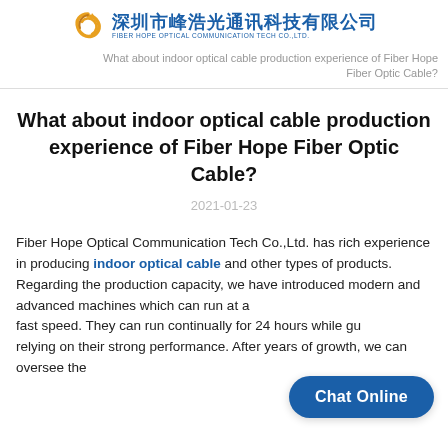[Figure (logo): Fiber Hope Optical Communication Tech Co., Ltd. logo with Chinese text 深圳市峰浩光通讯科技有限公司 and English text FIBER HOPE OPTICAL COMMUNICATION TECH CO.,LTD.]
What about indoor optical cable production experience of Fiber Hope Fiber Optic Cable?
What about indoor optical cable production experience of Fiber Hope Fiber Optic Cable?
2021-01-23
Fiber Hope Optical Communication Tech Co.,Ltd. has rich experience in producing indoor optical cable and other types of products. Regarding the production capacity, we have introduced modern and advanced machines which can run at a fast speed. They can run continually for 24 hours while gu... relying on their strong performance. After years of growth, we can oversee the